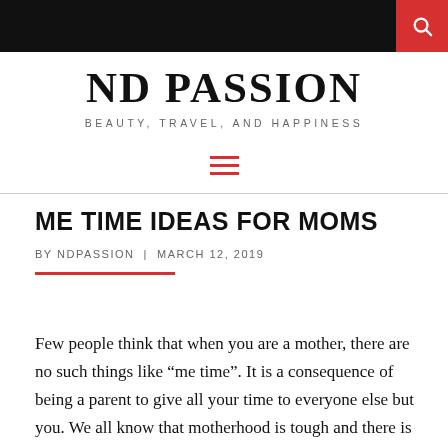ND PASSION
ND PASSION
BEAUTY, TRAVEL, AND HAPPINESS
[Figure (other): Red hamburger menu icon (three horizontal lines)]
ME TIME IDEAS FOR MOMS
BY NDPASSION | MARCH 12, 2019
Few people think that when you are a mother, there are no such things like “me time”. It is a consequence of being a parent to give all your time to everyone else but you. We all know that motherhood is tough and there is nothing